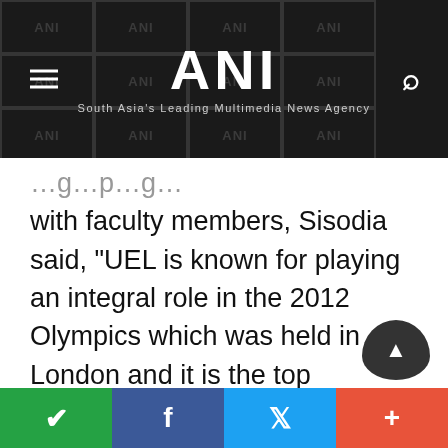ANI — South Asia's Leading Multimedia News Agency
with faculty members, Sisodia said, "UEL is known for playing an integral role in the 2012 Olympics which was held in London and it is the top university for sports education in London. The university has a dedicated School of Health, Sport and Bioscience, which provides hands-on, experience-led teaching across multiple disciplines in sports. We are looking forward to collaborating with UEL to work on